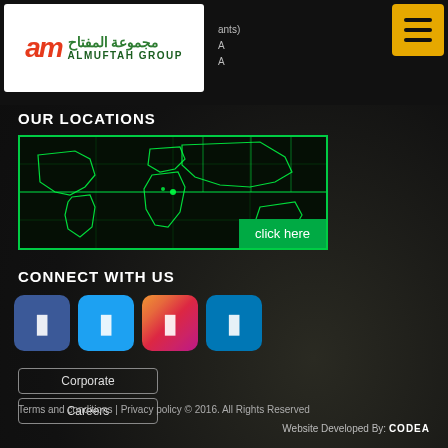[Figure (logo): Almuftah Group logo — white box with red stylized 'am' symbol and green Arabic/English text 'مجموعة المفتاح / ALMUFTAH GROUP']
ants)
[Figure (other): Yellow hamburger menu button (three horizontal lines) in top right corner]
OUR LOCATIONS
[Figure (map): Dark world map with green glowing outlines and grid lines; 'click here' green button in bottom-right corner]
CONNECT WITH US
[Figure (other): Four social media icon buttons: Facebook (blue), Twitter (light blue), Instagram (gradient), LinkedIn (blue)]
Corporate
Careers
Terms and conditions | Privacy policy © 2016. All Rights Reserved
Website Developed By: CODEA